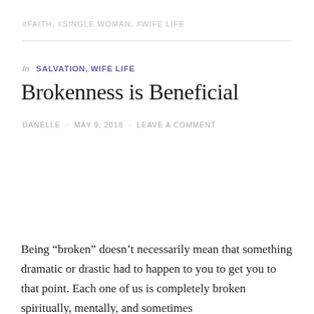#FAITH, #SINGLE WOMAN, #WIFE LIFE
In SALVATION, WIFE LIFE
Brokenness is Beneficial
DANELLE · MAY 9, 2018 · LEAVE A COMMENT
Being “broken” doesn’t necessarily mean that something dramatic or drastic had to happen to you to get you to that point. Each one of us is completely broken spiritually, mentally, and sometimes